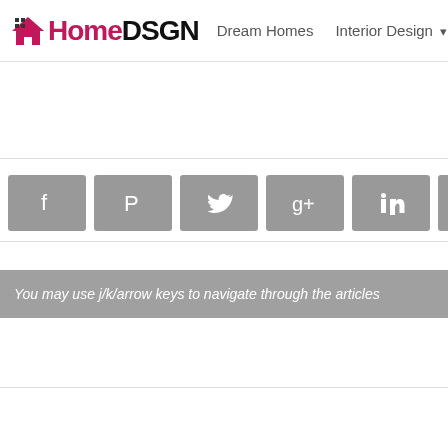HomeDSGN | Dream Homes | Interior Design | Hou
[Figure (screenshot): Social sharing buttons: Facebook, Pinterest, Twitter, Google+, LinkedIn, StumbleUpon — all gray rounded rectangles with white icons]
You may use j/k/arrow keys to navigate through the articles